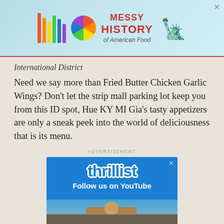[Figure (other): Top advertisement banner with rainbow colored bars, color wheel circle, text 'MESSY HISTORY of American Food' in red, and Statue of Liberty image on light blue background]
International District
Need we say more than Fried Butter Chicken Wings? Don’t let the strip mall parking lot keep you from this ID spot, Hue KY MI Gia’s tasty appetizers are only a sneak peek into the world of deliciousness that is its menu.
ADVERTISEMENT
[Figure (other): Thrillist advertisement on blue background with 'thrillist' logo text and 'Follow us on YouTube' text, with a person visible at the bottom]